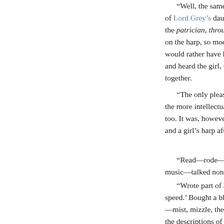“Well, the same e of Lord Grey’s daugh the patrician, throug on the harp, so mode would rather have ha and heard the girl, th together.

“The only pleasure the more intellectual too. It was, however, and a girl’s harp afte

“Read—rode—fired music—talked nonsen
“Wrote part of a speed.’ Bought a bla —mist, mizzle, the a the descriptions of O perspective. Politics s